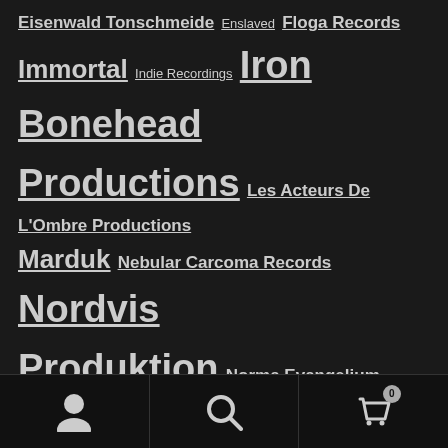Eisenwald Tonschmeide Enslaved Floga Records Immortal Indie Recordings Iron Bonehead Productions Les Acteurs De L'Ombre Productions Marduk Nebular Carcoma Records Nordvis Produktion Norma Evangelium Diaboli Northern Heritage Northern Silence Productions Nuclear Blast Osmose Productions Peaceville Prophecy Productions Purity Through Fire Rise Above Records Rotting Christ Season of Mist Signal Rex Soulseller Records Spinefarm Records Terratur
User icon | Search icon | Cart (0)